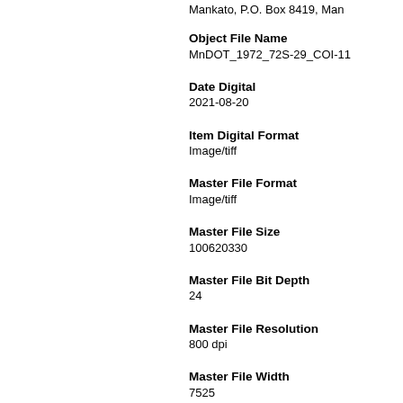Mankato, P.O. Box 8419, Man
Object File Name
MnDOT_1972_72S-29_COI-11
Date Digital
2021-08-20
Item Digital Format
Image/tiff
Master File Format
Image/tiff
Master File Size
100620330
Master File Bit Depth
24
Master File Resolution
800 dpi
Master File Width
7525
Master File Height